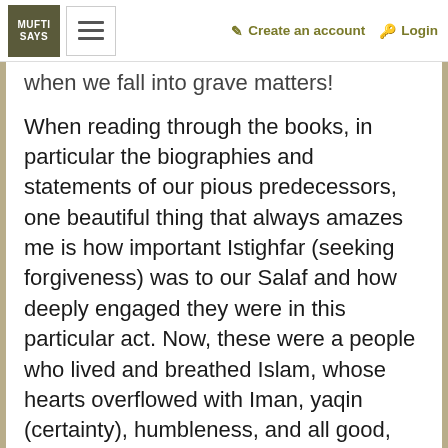MUFTI SAYS | Create an account | Login
when we fall into grave matters!
When reading through the books, in particular the biographies and statements of our pious predecessors, one beautiful thing that always amazes me is how important Istighfar (seeking forgiveness) was to our Salaf and how deeply engaged they were in this particular act. Now, these were a people who lived and breathed Islam, whose hearts overflowed with Iman, yaqin (certainty), humbleness, and all good, and they were of tremendous worth in the Sight of Allah. They were the